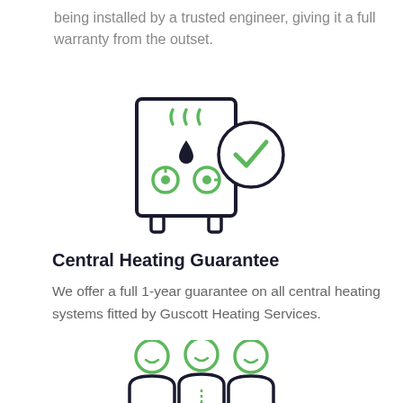being installed by a trusted engineer, giving it a full warranty from the outset.
[Figure (illustration): Icon of a boiler/central heating unit with green steam symbols and green dial controls, with a green checkmark in a circle overlay]
Central Heating Guarantee
We offer a full 1-year guarantee on all central heating systems fitted by Guscott Heating Services.
[Figure (illustration): Icon of three people/team members with green circular heads and dark body outlines]